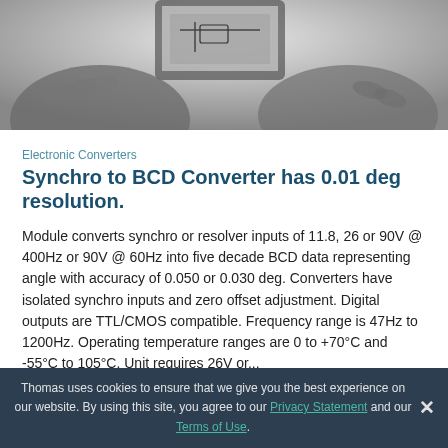[Figure (photo): Grayscale photo of hands holding an electronic device/tablet, partially cropped at top of page]
Electronic Converters
Synchro to BCD Converter has 0.01 deg resolution.
Module converts synchro or resolver inputs of 11.8, 26 or 90V @ 400Hz or 90V @ 60Hz into five decade BCD data representing angle with accuracy of 0.050 or 0.030 deg. Converters have isolated synchro inputs and zero offset adjustment. Digital outputs are TTL/CMOS compatible. Frequency range is 47Hz to 1200Hz. Operating temperature ranges are 0 to +70°C and -55°C to 105°C. Unit requires 26V or...
Thomas uses cookies to ensure that we give you the best experience on our website. By using this site, you agree to our Privacy Statement and our Terms of Use.